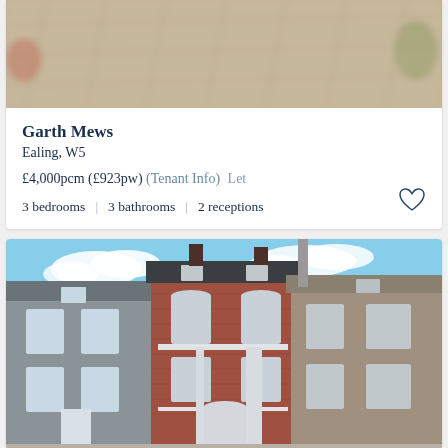[Figure (photo): Blurred outdoor courtyard or patio with stone paving, viewed from above, partial top of card]
Garth Mews
Ealing, W5
£4,000pcm (£923pw) (Tenant Info)  Let
3 bedrooms  |  3 bathrooms  |  2 receptions
[Figure (photo): Street view of terraced Victorian houses; central red brick building with arched windows and dormer skylights, flanked by grey rendered and stone buildings, blue sky with clouds]